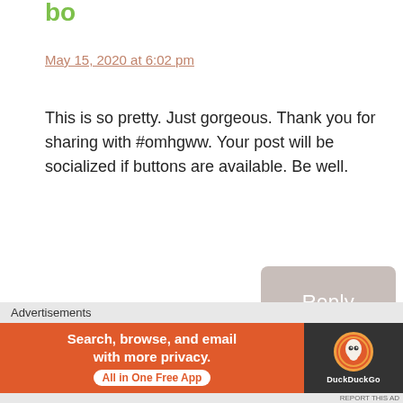May 15, 2020 at 6:02 pm
This is so pretty. Just gorgeous. Thank you for sharing with #omhgww. Your post will be socialized if buttons are available. Be well.
Reply
Lovely Livings Blog
Advertisements
Search, browse, and email with more privacy. All in One Free App
DuckDuckGo